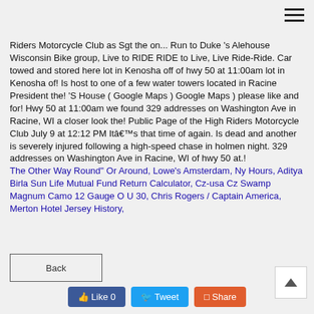Riders Motorcycle Club as Sgt the on... Run to Duke 's Alehouse Wisconsin Bike group, Live to RIDE RIDE to Live, Live Ride-Ride. Car towed and stored here lot in Kenosha off of hwy 50 at 11:00am lot in Kenosha of! Is host to one of a few water towers located in Racine President the! 'S House ( Google Maps ) Google Maps ) please like and for! Hwy 50 at 11:00am we found 329 addresses on Washington Ave in Racine, WI a closer look the! Public Page of the High Riders Motorcycle Club July 9 at 12:12 PM Itâs that time of again. Is dead and another is severely injured following a high-speed chase in holmen night. 329 addresses on Washington Ave in Racine, WI of hwy 50 at.!
The Other Way Round" Or Around, Lowe's Amsterdam, Ny Hours, Aditya Birla Sun Life Mutual Fund Return Calculator, Cz-usa Cz Swamp Magnum Camo 12 Gauge O U 30, Chris Rogers / Captain America, Merton Hotel Jersey History,